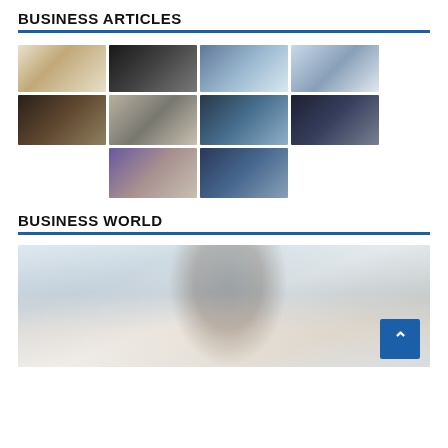BUSINESS ARTICLES
[Figure (photo): Grid of 10 business-themed stock photos arranged in 3 rows: row 1 has 4 images (credit card/coffee, whiteboard/finance, people with tablet, person with tablet), row 2 has 4 images (meeting room, keyboard/hands, businessman walking, two colleagues at desk), row 3 has 2 images (conference room crowd, team group).]
BUSINESS WORLD
[Figure (photo): Hero image of a smiling Black man in a blue shirt at a desk with papers, a computer monitor visible, with a blue back-to-top arrow button in the lower right corner.]